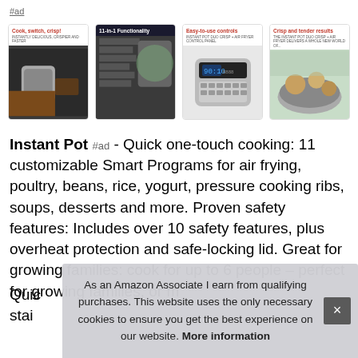#ad
[Figure (photo): Four product thumbnail images of an Instant Pot with captions: 'Cook, switch, crisp!', '11-in-1 Functionality', 'Easy-to-use controls', 'Crisp and tender results']
Instant Pot #ad - Quick one-touch cooking: 11 customizable Smart Programs for air frying, poultry, beans, rice, yogurt, pressure cooking ribs, soups, desserts and more. Proven safety features: Includes over 10 safety features, plus overheat protection and safe-locking lid. Great for growing families: cook for up to 6 people – perfect for growing families, or m
As an Amazon Associate I earn from qualifying purchases. This website uses the only necessary cookies to ensure you get the best experience on our website. More information
Quic
stai
acc